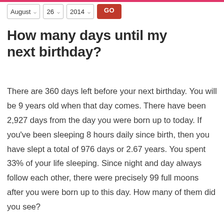August 26 2014 GO
How many days until my next birthday?
There are 360 days left before your next birthday. You will be 9 years old when that day comes. There have been 2,927 days from the day you were born up to today. If you've been sleeping 8 hours daily since birth, then you have slept a total of 976 days or 2.67 years. You spent 33% of your life sleeping. Since night and day always follow each other, there were precisely 99 full moons after you were born up to this day. How many of them did you see?